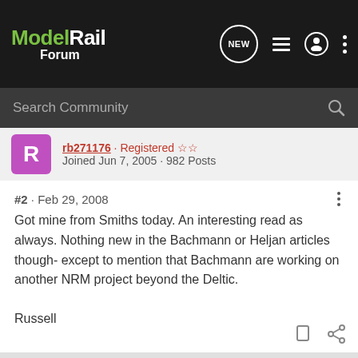ModelRail Forum
Search Community
rb271176 · Registered ☆☆
Joined Jun 7, 2005 · 982 Posts
#2 · Feb 29, 2008
Got mine from Smiths today. An interesting read as always. Nothing new in the Bachmann or Heljan articles though- except to mention that Bachmann are working on another NRM project beyond the Deltic.
Russell